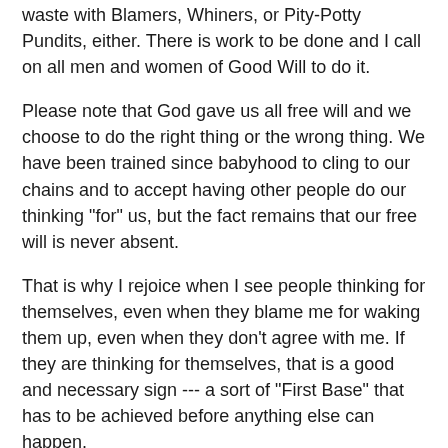waste with Blamers, Whiners, or Pity-Potty Pundits, either. There is work to be done and I call on all men and women of Good Will to do it.
Please note that God gave us all free will and we choose to do the right thing or the wrong thing. We have been trained since babyhood to cling to our chains and to accept having other people do our thinking "for" us, but the fact remains that our free will is never absent.
That is why I rejoice when I see people thinking for themselves, even when they blame me for waking them up, even when they don't agree with me. If they are thinking for themselves, that is a good and necessary sign --- a sort of "First Base" that has to be achieved before anything else can happen.
Once you realize that you do have free will and that you are responsible for thinking for yourself, a whole host of other things becomes possible. You can, for example, get beyond the infantile state of "either/or" thinking, and all the assumptions that go with it.